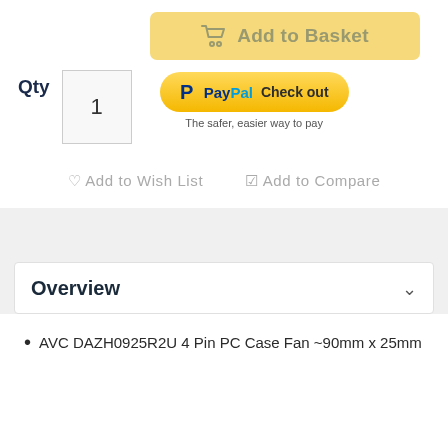[Figure (other): Add to Basket button (yellow/gold background with shopping cart icon)]
Qty
[Figure (other): Quantity input box showing '1']
[Figure (other): PayPal Check out button with tagline 'The safer, easier way to pay']
♡ Add to Wish List   ☑ Add to Compare
Overview
AVC DAZH0925R2U 4 Pin PC Case Fan ~90mm x 25mm